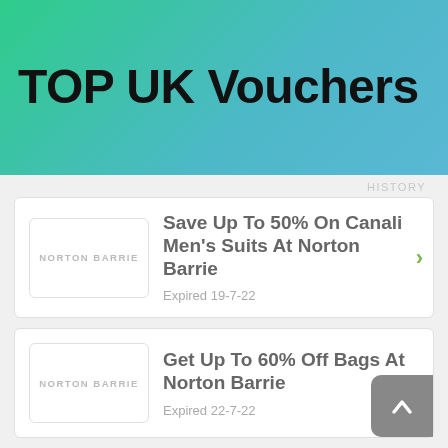TOP UK Vouchers
Save Up To 50% On Canali Men's Suits At Norton Barrie — Expired 19-7-22
Get Up To 60% Off Bags At Norton Barrie — Expired 22-7-22
Jacob Cohen Men's Jeans